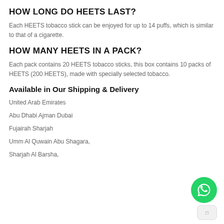HOW LONG DO HEETS LAST?
Each HEETS tobacco stick can be enjoyed for up to 14 puffs, which is similar to that of a cigarette.
HOW MANY HEETS IN A PACK?
Each pack contains 20 HEETS tobacco sticks, this box contains 10 packs of HEETS (200 HEETS), made with specially selected tobacco.
Available in Our Shipping & Delivery
United Arab Emirates
Abu Dhabi Ajman Dubai
Fujairah Sharjah
Umm Al Quwain Abu Shagara,
Sharjah Al Barsha,